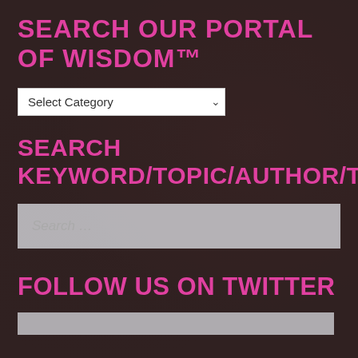SEARCH OUR PORTAL OF WISDOM™
[Figure (other): Dropdown select box with 'Select Category' placeholder and chevron arrow]
SEARCH KEYWORD/TOPIC/AUTHOR/TITLE
[Figure (other): Search input box with placeholder text 'Search …']
FOLLOW US ON TWITTER
[Figure (other): Twitter widget box (partially visible at bottom)]